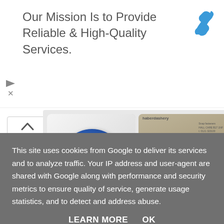Our Mission Is to Provide Reliable & High-Quality Services.
[Figure (photo): Blue circular tin of Hemline glass-head sewing pins with pink label reading 'Pins GLASS NOT AFFECTED BY IRON' with watermark overlay 'photobucket post store share']
[Figure (photo): Haberdashery bag of metal buttons/snap fasteners in gold packaging with text details, watermark overlay visible]
This site uses cookies from Google to deliver its services and to analyze traffic. Your IP address and user-agent are shared with Google along with performance and security metrics to ensure quality of service, generate usage statistics, and to detect and address abuse.
LEARN MORE    OK